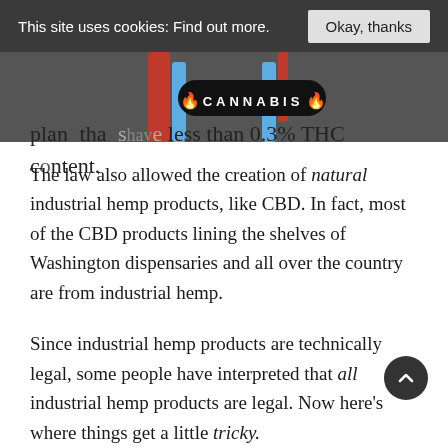This site uses cookies: Find out more.   Okay, thanks
[Figure (logo): Cannabis logo badge with flame emojis on a dark rounded pill shape, with decorative red and blue vertical elements on either side, on a grey background strip]
plants that shave less than 0.3% THC content.
The law also allowed the creation of natural industrial hemp products, like CBD. In fact, most of the CBD products lining the shelves of Washington dispensaries and all over the country are from industrial hemp.
Since industrial hemp products are technically legal, some people have interpreted that all industrial hemp products are legal. Now here's where things get a little tricky.
Delta-8 THC is a natural cannabinoid, which